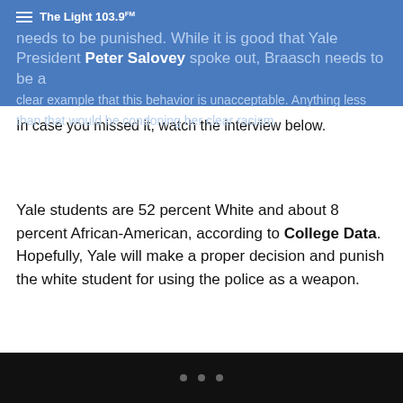The Light 103.9 FM — needs to be punished. While it is good that Yale President Peter Salovey spoke out, Braasch needs to be a clear example that this behavior is unacceptable. Anything less than that would be condoning her clear racism.
In case you missed it, watch the interview below.
Yale students are 52 percent White and about 8 percent African-American, according to College Data. Hopefully, Yale will make a proper decision and punish the white student for using the police as a weapon.